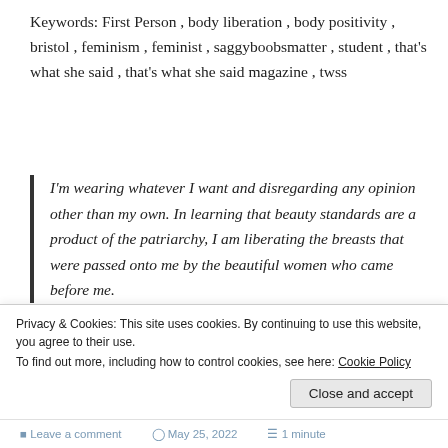Keywords: First Person , body liberation , body positivity , bristol , feminism , feminist , saggyboobsmatter , student , that's what she said , that's what she said magazine , twss
I'm wearing whatever I want and disregarding any opinion other than my own. In learning that beauty standards are a product of the patriarchy, I am liberating the breasts that were passed onto me by the beautiful women who came before me.
— https://twssmagazine.com/2022/05/22/on-the-journey-of-
Privacy & Cookies: This site uses cookies. By continuing to use this website, you agree to their use.
To find out more, including how to control cookies, see here: Cookie Policy
Close and accept
Leave a comment    May 25, 2022    1 minute